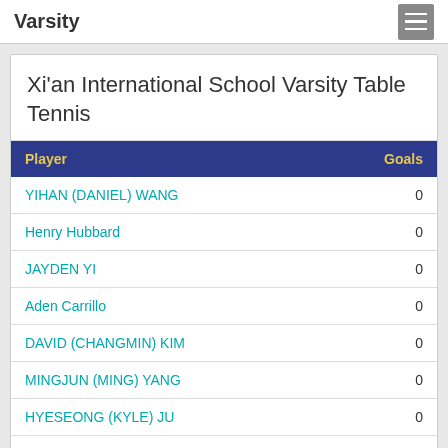Varsity
Xi'an International School Varsity Table Tennis
| Player | Goals |
| --- | --- |
| YIHAN (DANIEL) WANG | 0 |
| Henry Hubbard | 0 |
| JAYDEN YI | 0 |
| Aden Carrillo | 0 |
| DAVID (CHANGMIN) KIM | 0 |
| MINGJUN (MING) YANG | 0 |
| HYESEONG (KYLE) JU | 0 |
| MINSUNG (JOSEPH) KIM | 0 |